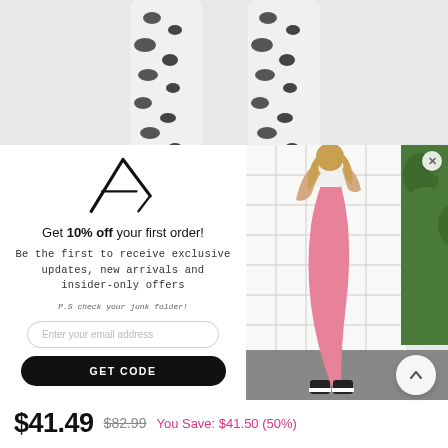[Figure (photo): Top portion of page showing leopard print leggings product photo on light grey background]
[Figure (photo): Modal popup showing brand logo (stylized A), promotional text, email input, GET CODE button on the left, and model wearing pink leggings, white sports bra, black Converse sneakers leaning against white tile wall with greenery in background on the right]
Get 10% off your first order!
Be the first to receive exclusive updates, new arrivals and insider-only offers
P.S check your junk folder!
Enter your email address
GET CODE
$41.49  $82.99  You Save: $41.50 (50%)